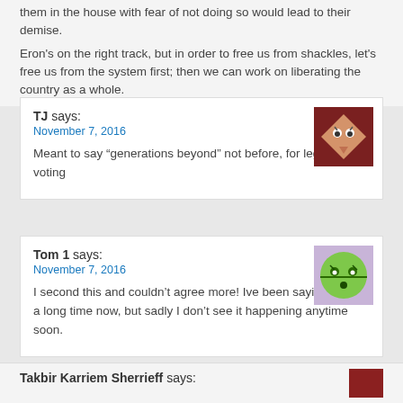them in the house with fear of not doing so would lead to their demise.
Eron's on the right track, but in order to free us from shackles, let's free us from the system first; then we can work on liberating the country as a whole.
TJ says:
November 7, 2016
Meant to say “generations beyond” not before, for legacy voting
[Figure (illustration): Avatar icon: brown background with diamond/face cartoon graphic]
Tom 1 says:
November 7, 2016
I second this and couldn’t agree more! Ive been saying this for a long time now, but sadly I don’t see it happening anytime soon.
[Figure (illustration): Avatar icon: purple background with green smiley face cartoon]
Takbir Karriem Sherrieff says: